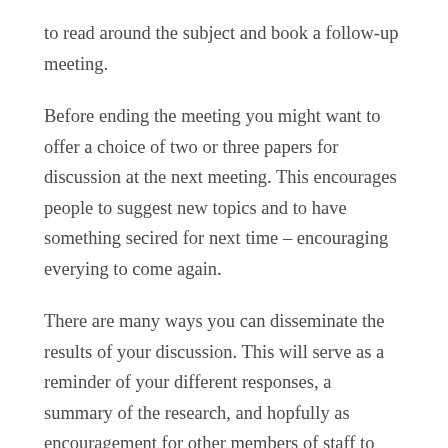to read around the subject and book a follow-up meeting.
Before ending the meeting you might want to offer a choice of two or three papers for discussion at the next meeting. This encourages people to suggest new topics and to have something secired for next time – encouraging everying to come again.
There are many ways you can disseminate the results of your discussion. This will serve as a reminder of your different responses, a summary of the research, and hopfully as encouragement for other members of staff to take part. Different ways you can try this include: